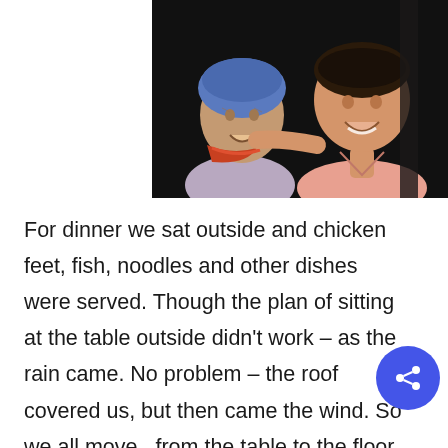[Figure (photo): Two women posed together against a dark background. On the left is an elderly woman wearing a blue head covering and orange/red scarf, smiling. On the right is a younger woman in a pink top, smiling, with her arm around the older woman.]
For dinner we sat outside and chicken feet, fish, noodles and other dishes were served. Though the plan of sitting at the table outside didn't work – as the rain came. No problem – the roof covered us, but then came the wind. So we all moved from the table to the floor outside the